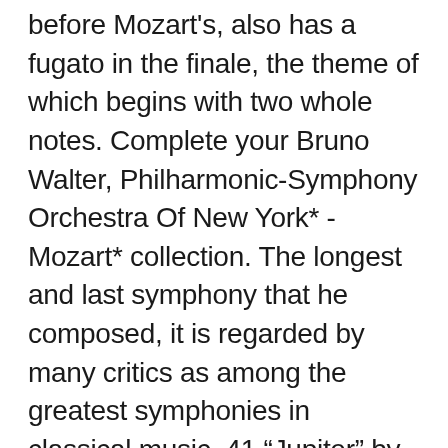before Mozart's, also has a fugato in the finale, the theme of which begins with two whole notes. Complete your Bruno Walter, Philharmonic-Symphony Orchestra Of New York* - Mozart* collection. The longest and last symphony that he composed, it is regarded by many critics as among the greatest symphonies in classical music. 41 “Jupiter” by , Wolfgang Amadeus Mozart, Carrie Lane Gruselle scored for Orchestra; id:411502. As if to show the world how far he’s come, the beautifully simple French horn tune from the first symphony is back – and this time, it’s the focus of the entire finale. It’s also there in the spectacular counterpoint of the “Jupiter” Symphony’s Finale, where, at the end of the coda, five independent themes weave